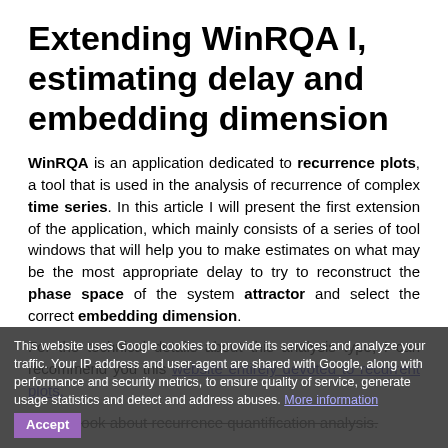Extending WinRQA I, estimating delay and embedding dimension
WinRQA is an application dedicated to recurrence plots, a tool that is used in the analysis of recurrence of complex time series. In this article I will present the first extension of the application, which mainly consists of a series of tool windows that will help you to make estimates on what may be the most appropriate delay to try to reconstruct the phase space of the system attractor and select the correct embedding dimension.
For the technical details about this analysis type, I can recommend you this website entirely devoted to recurrent plots, or this book about recurrence quantification analysis.
In this link you can download the executables of the WinRQA application, and in this another one, you can download the source code of the WinRQA project, written in CSharp with Visual Studio 2013. It is a Windows application, for the version 7 or later.
This website uses Google cookies to provide its services and analyze your traffic. Your IP address and user-agent are shared with Google, along with performance and security metrics, to ensure quality of service, generate usage statistics and detect and address abuses. More information Accept